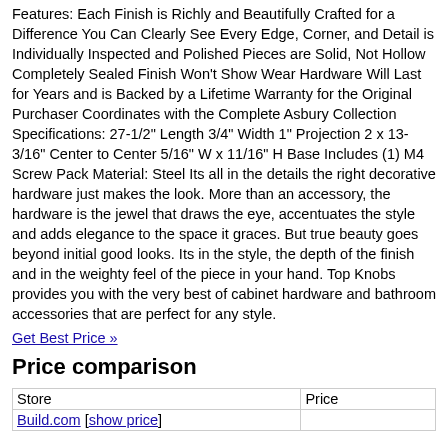Features: Each Finish is Richly and Beautifully Crafted for a Difference You Can Clearly See Every Edge, Corner, and Detail is Individually Inspected and Polished Pieces are Solid, Not Hollow Completely Sealed Finish Won't Show Wear Hardware Will Last for Years and is Backed by a Lifetime Warranty for the Original Purchaser Coordinates with the Complete Asbury Collection Specifications: 27-1/2" Length 3/4" Width 1" Projection 2 x 13-3/16" Center to Center 5/16" W x 11/16" H Base Includes (1) M4 Screw Pack Material: Steel Its all in the details the right decorative hardware just makes the look. More than an accessory, the hardware is the jewel that draws the eye, accentuates the style and adds elegance to the space it graces. But true beauty goes beyond initial good looks. Its in the style, the depth of the finish and in the weighty feel of the piece in your hand. Top Knobs provides you with the very best of cabinet hardware and bathroom accessories that are perfect for any style.
Get Best Price »
Price comparison
| Store | Price |
| --- | --- |
| Build.com [show price] |  |